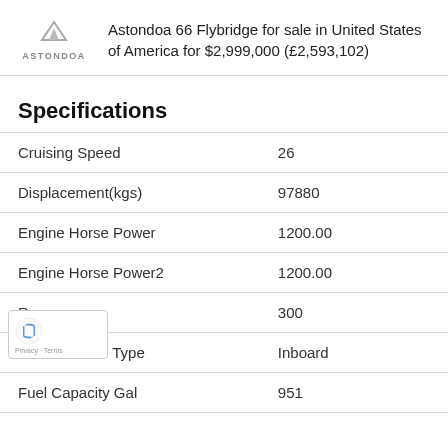Astondoa 66 Flybridge for sale in United States of America for $2,999,000 (£2,593,102)
Specifications
|  |  |
| --- | --- |
| Cruising Speed | 26 |
| Displacement(kgs) | 97880 |
| Engine Horse Power | 1200.00 |
| Engine Horse Power2 | 1200.00 |
| Range | 300 |
| Engine Type | Inboard |
| Fuel Capacity Gal | 951 |